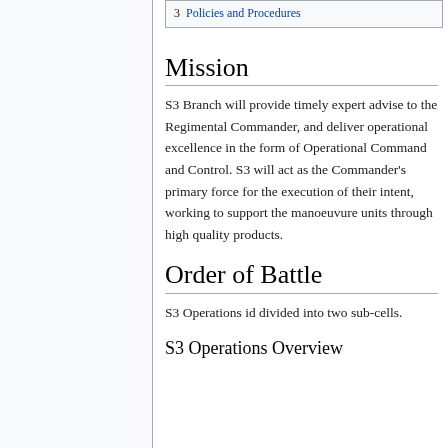3  Policies and Procedures
Mission
S3 Branch will provide timely expert advise to the Regimental Commander, and deliver operational excellence in the form of Operational Command and Control. S3 will act as the Commander's primary force for the execution of their intent, working to support the manoeuvure units through high quality products.
Order of Battle
S3 Operations id divided into two sub-cells.
S3 Operations Overview